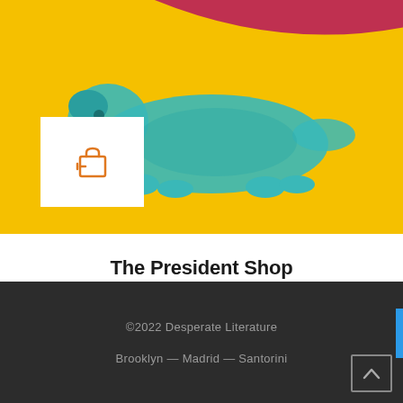[Figure (photo): Book cover image with bright yellow background, teal/cyan colored animal (dog or lizard) in the center, and a red swoosh/flag at the top right. A white square button with an orange shopping cart plus icon is overlaid at the bottom left of the image.]
The President Shop
Literature
€18.00
©2022 Desperate Literature
Brooklyn — Madrid — Santorini